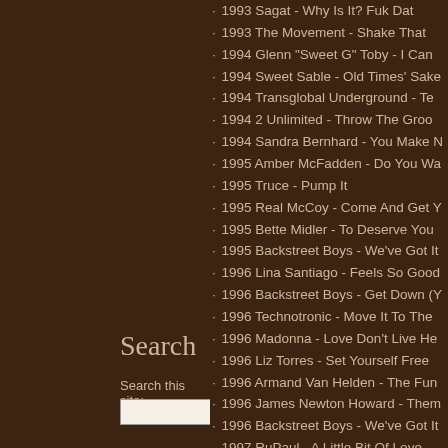· 1993 Sagat - Why Is It? Fuk Dat
· 1993 The Movement - Shake That
· 1994 Glenn "Sweet G" Toby - I Can
· 1994 Sweet Sable - Old Times' Sake
· 1994 Transglobal Underground - Te
· 1994 2 Unlimited - Throw The Groo
· 1994 Sandra Bernhard - You Make N
· 1995 Amber McFadden - Do You Wa
· 1995 Truce - Pump It
· 1995 Real McCoy - Come And Get Y
· 1995 Bette Midler - To Deserve You
· 1995 Backstreet Boys - We've Got It
· 1996 Lina Santiago - Feels So Good
· 1996 Backstreet Boys - Get Down (Y
· 1996 Technotronic - Move It To The
· 1996 Madonna - Love Don't Live He
· 1996 Liz Torres - Set Yourself Free
· 1996 Armand Van Helden - The Fun
· 1996 James Newton Howard - Them
· 1996 Backstreet Boys - We've Got It
· 1997 RuPaul - A Little Bit Of Love
· 1997 Groove Junkies -
Search
Search this site: